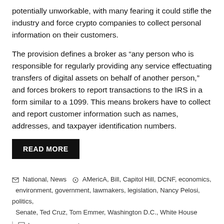potentially unworkable, with many fearing it could stifle the industry and force crypto companies to collect personal information on their customers.
The provision defines a broker as “any person who is responsible for regularly providing any service effectuating transfers of digital assets on behalf of another person,” and forces brokers to report transactions to the IRS in a form similar to a 1099. This means brokers have to collect and report customer information such as names, addresses, and taxpayer identification numbers.
READ MORE
National, News • AMericA, Bill, Capitol Hill, DCNF, economics, environment, government, lawmakers, legislation, Nancy Pelosi, politics, Senate, Ted Cruz, Tom Emmer, Washington D.C., White House
Leave a comment